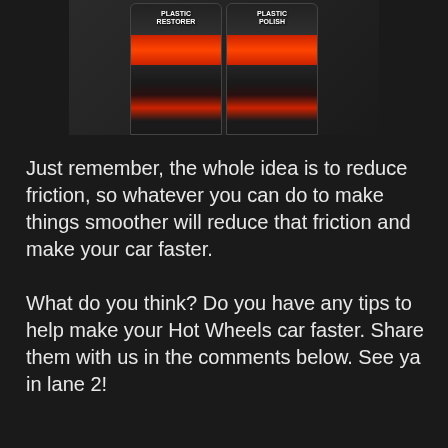[Figure (photo): Two spray cans of automotive products — Plastic Restorer and Plastic Polish — sitting on a wooden surface. The cans are black with red and white label graphics.]
Just remember, the whole idea is to reduce friction, so whatever you can do to make things smoother will reduce that friction and make your car faster.
What do you think? Do you have any tips to help make your Hot Wheels car faster. Share them with us in the comments below. See ya in lane 2!